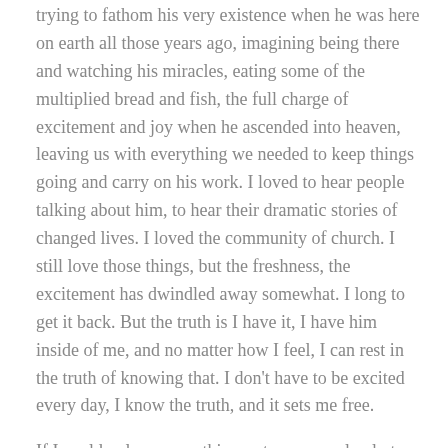trying to fathom his very existence when he was here on earth all those years ago, imagining being there and watching his miracles, eating some of the multiplied bread and fish, the full charge of excitement and joy when he ascended into heaven, leaving us with everything we needed to keep things going and carry on his work.  I loved to hear people talking about him, to hear their dramatic stories of changed lives.  I loved the community of church.  I still love those things, but the freshness, the excitement has dwindled away somewhat.  I long to get it back.  But the truth is I have it, I have him inside of me, and no matter how I feel, I can rest in the truth of knowing that.  I don't have to be excited every day, I know the truth, and it sets me free.
If I could only express this mystery more clearly to others.  If I could only get a few of my tears out, which are waiting to be caught by Jesus, I think I would be able to talk more